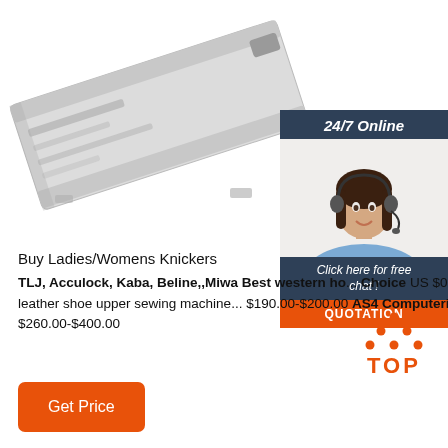[Figure (photo): Product photo of a sewing machine or metallic garment-related device on white background]
[Figure (infographic): 24/7 Online chat widget with female customer support agent wearing headset, dark header saying '24/7 Online', italic text 'Click here for free chat!', orange QUOTATION button]
Buy Ladies/Womens Knickers
TLJ, Acculock, Kaba, Beline,,Miwa Best western ho... Choice US $0.085-$0.55 GOLDEN CHOICE R2 loc... sewing machine leather shoe upper sewing machine... $190.00-$200.00 AS4 Computerized machine sewing electric sewing machine price US $260.00-$400.00
[Figure (infographic): Orange TOP icon with orange dots forming a triangle above the word TOP in bold orange letters]
Get Price